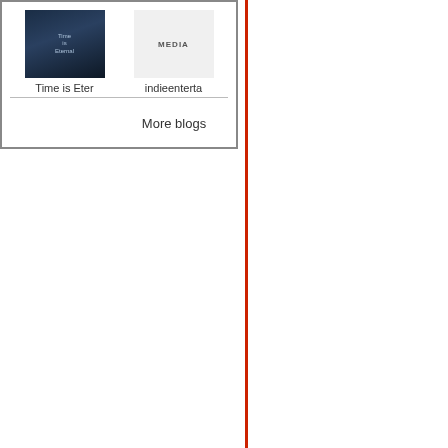[Figure (screenshot): A widget box showing two blog thumbnails side by side. Left thumbnail shows 'Time is Eter' with a dark sci-fi movie poster image. Right thumbnail shows 'indieenterta' with a gray placeholder labeled MEDIA. Below both thumbnails is a 'More blogs' link.]
Time is Eter
indieenterta
More blogs